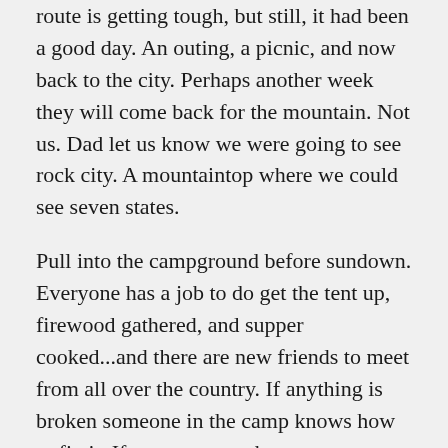route is getting tough, but still, it had been a good day. An outing, a picnic, and now back to the city. Perhaps another week they will come back for the mountain. Not us. Dad let us know we were going to see rock city. A mountaintop where we could see seven states.
Pull into the campground before sundown. Everyone has a job to do get the tent up, firewood gathered, and supper cooked...and there are new friends to meet from all over the country. If anything is broken someone in the camp knows how to fix it. If not, someone has an extra one to spare. With dusk the sounds of children's voices become crisper, “olly olly oxen free.” Some make plans for a softball game in the morning, but not for us. Dad reminds us that we have come to see a mountaintop and there may be other distractions